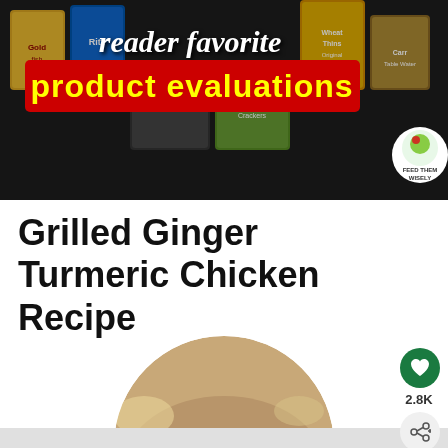[Figure (illustration): Reader favorite product evaluations banner with cracker/snack boxes]
Grilled Ginger Turmeric Chicken Recipe
[Figure (photo): Circular cropped photo of grilled ginger turmeric chicken with red peppers and herbs]